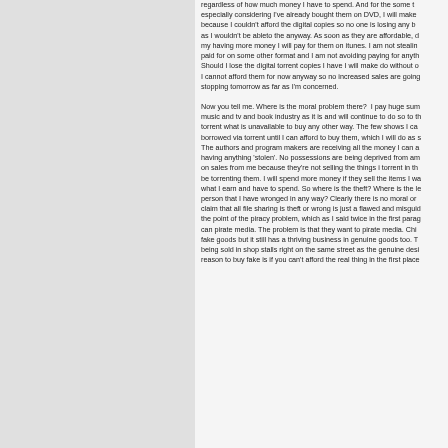regardless of how much money I have to spend. And for the some t… especially considering I've already bought them on DVD, I will make … because I couldn't afford the digital copies so no one is losing any b… as I wouldn't be ableto the anyway. As soon as they are affordable, d… my having more money I will pay for them on itunes. I am not stealin… paid for on some other format and I am not avoiding paying for anyth… Should I lose the digital torrent copies I have I will make do without o… I cannot afford them for now anyway so no increased sales are going… stopping tomorrow as far as I'm concerned.
Now you tell me. Where is the moral problem there?  I pay huge sum… music and tv and book industry as it is and will continue to do so to th… torrent what is unavailable to buy any other way. The few shows I ca… borrowed via torrent until I can afford to buy them, which I will do as s… The authors and program makers are receiving all the money I can a… having anything 'stolen'. No possessions are being deprived from am… on sales from me because they're not selling the things i torrent in th… be torrenting them. I will spend more money if they sell the items I wa… what I earn and have to spend. So where is the theft? Where is the le… person that I have wronged in any way? Clearly there is no moral or … claim that all file sharing is theft or wrong is just a flawed and misguid… the point of the piracy problem, which as I said twice in the first parag… can pirate media. The problem is that they want to pirate media. Chi… fake goods but it still has a thriving business in genuine goods too. T… being sold in shop stalls right on the same street as the genuine desi… reason to buy fake is if you can't afford the real thing in the first place